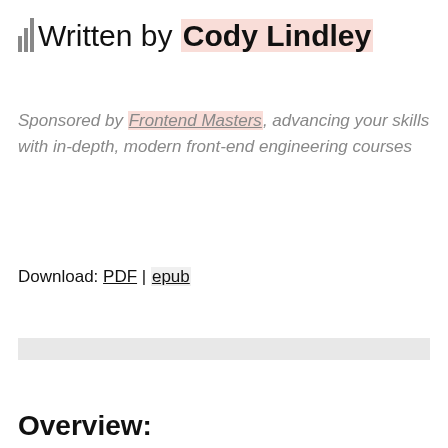Written by Cody Lindley
Sponsored by Frontend Masters, advancing your skills with in-depth, modern front-end engineering courses
Download: PDF | epub
Overview: